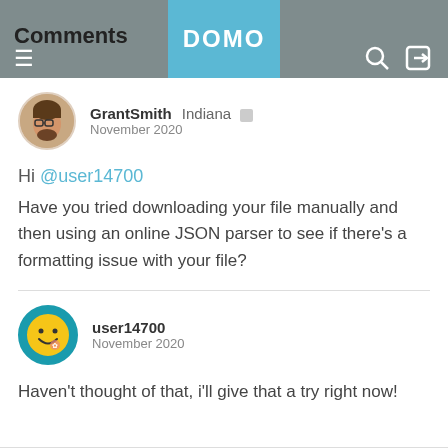Comments | DOMO
GrantSmith Indiana  November 2020
Hi @user14700
Have you tried downloading your file manually and then using an online JSON parser to see if there's a formatting issue with your file?
user14700 November 2020
Haven't thought of that, i'll give that a try right now!